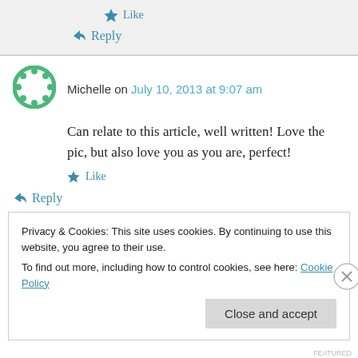★ Like
↪ Reply
Michelle on July 10, 2013 at 9:07 am
Can relate to this article, well written! Love the pic, but also love you as you are, perfect!
★ Like
↪ Reply
Privacy & Cookies: This site uses cookies. By continuing to use this website, you agree to their use. To find out more, including how to control cookies, see here: Cookie Policy
Close and accept